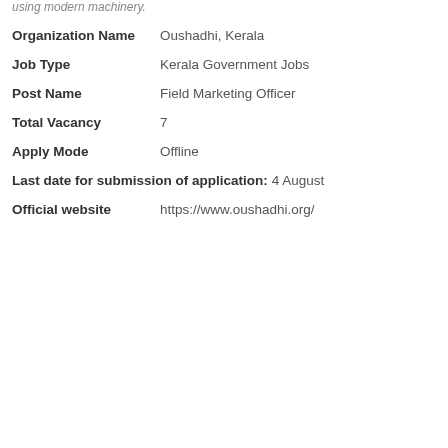using modern machinery.
Organization Name   Oushadhi, Kerala
Job Type   Kerala Government Jobs
Post Name   Field Marketing Officer
Total Vacancy   7
Apply Mode   Offline
Last date for submission of application: 4 August
Official website   https://www.oushadhi.org/